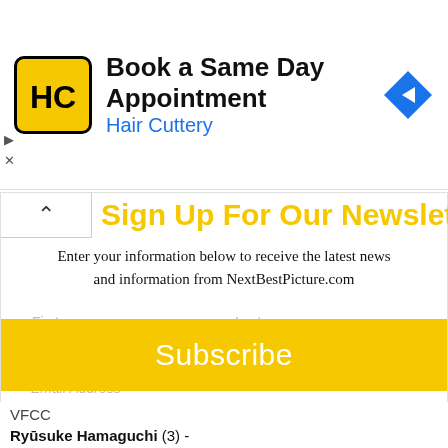[Figure (screenshot): Advertisement banner for Hair Cuttery: 'Book a Same Day Appointment' with logo and navigation arrow icon]
Sign Up For Our Newsletter
Enter your information below to receive the latest news and information from NextBestPicture.com
First
Last
Email Address
Subscribe
VFCC
Ryūsuke Hamaguchi (3) -